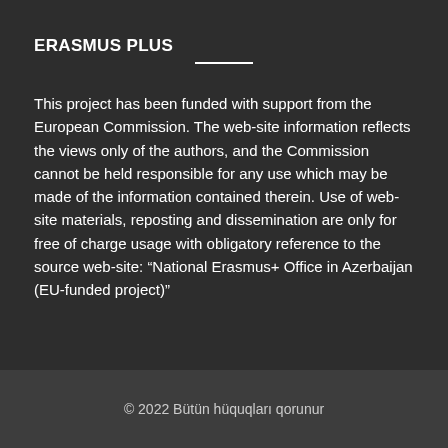ERASMUS PLUS
This project has been funded with support from the European Commission. The web-site information reflects the views only of the authors, and the Commission cannot be held responsible for any use which may be made of the information contained therein. Use of web-site materials, reposting and dissemination are only for free of charge usage with obligatory reference to the source web-site: “National Erasmus+ Office in Azerbaijan (EU-funded project)”
© 2022 Bütün hüquqları qorunur